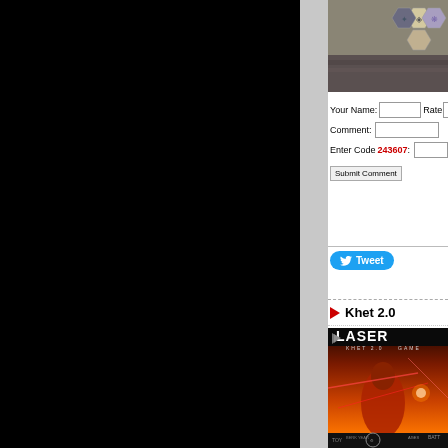[Figure (photo): Top portion of a board game with hexagonal tiles visible, showing game pieces on a textured surface]
Your Name:
Rate
Comment:
Enter Code 243607:
Submit Comment
Tweet
Khet 2.0
[Figure (photo): Khet 2.0 Laser Game box art showing a red-robed figure with laser beams, product packaging with logos]